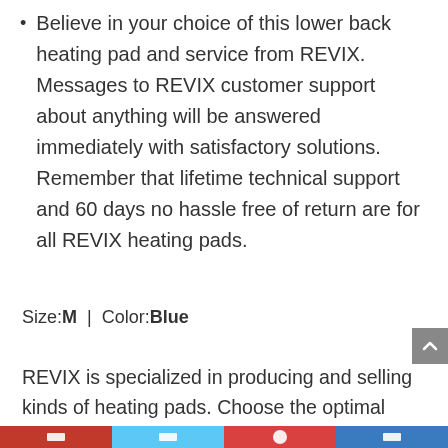Believe in your choice of this lower back heating pad and service from REVIX. Messages to REVIX customer support about anything will be answered immediately with satisfactory solutions. Remember that lifetime technical support and 60 days no hassle free of return are for all REVIX heating pads.
Size:M | Color:Blue
REVIX is specialized in producing and selling kinds of heating pads. Choose the optimal heating pad for yourself, your lover and your family. A REVIX heating pad is a household necessity for kinds of pain relief like arthritis, chronic pain,